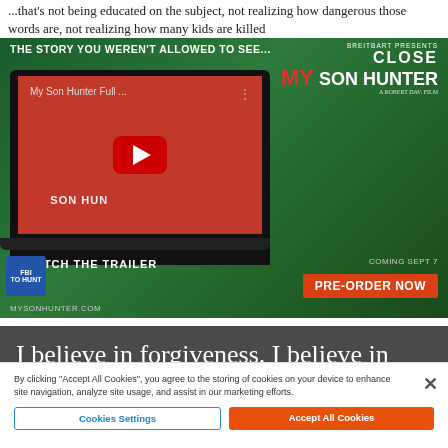...that's not being educated on the subject, not realizing how dangerous those words are, not realizing how many kids are killed
[Figure (screenshot): Advertisement for Breitbart's 'My Son Hunter' film, showing a YouTube video embed with play button on a laptop screen, the film title logo, 'WATCH THE TRAILER' text, 'COMING SEPT 7' and 'PRE-ORDER NOW' button, MYSONHUNTER.COM URL, and green-tinted promotional imagery of a man with sunglasses smoking.]
I believe in forgiveness. I believe in second chances. And I believe in
By clicking "Accept All Cookies", you agree to the storing of cookies on your device to enhance site navigation, analyze site usage, and assist in our marketing efforts.
Cookies Settings
Accept All Cookies